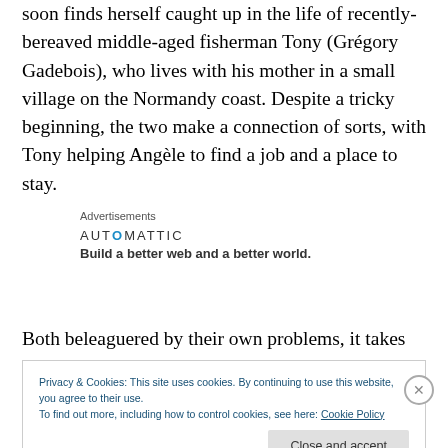soon finds herself caught up in the life of recently-bereaved middle-aged fisherman Tony (Grégory Gadebois), who lives with his mother in a small village on the Normandy coast. Despite a tricky beginning, the two make a connection of sorts, with Tony helping Angèle to find a job and a place to stay.
Advertisements
AUTOMATTIC
Build a better web and a better world.
Both beleaguered by their own problems, it takes time to
Privacy & Cookies: This site uses cookies. By continuing to use this website, you agree to their use.
To find out more, including how to control cookies, see here: Cookie Policy
Close and accept